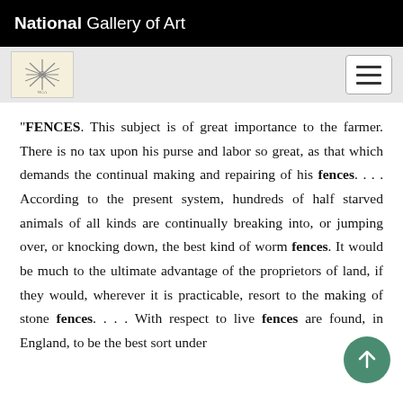National Gallery of Art
[Figure (logo): National Gallery of Art snowflake/starburst logo icon]
“FENCES. This subject is of great importance to the farmer. There is no tax upon his purse and labor so great, as that which demands the continual making and repairing of his fences. . . . According to the present system, hundreds of half starved animals of all kinds are continually breaking into, or jumping over, or knocking down, the best kind of worm fences. It would be much to the ultimate advantage of the proprietors of land, if they would, wherever it is practicable, resort to the making of stone fences. . . . With respect to live fences are found, in England, to be the best sort under